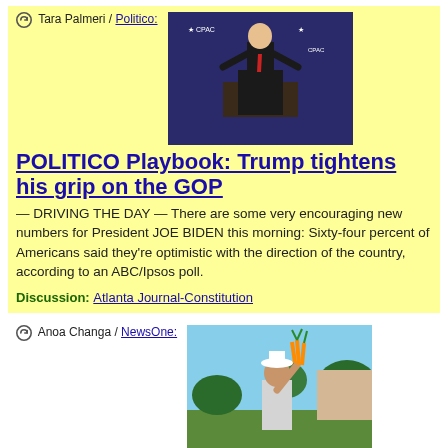Tara Palmeri / Politico:
[Figure (photo): Donald Trump speaking at a podium with CPAC-style backdrop, arms outstretched, wearing dark suit and red tie]
POLITICO Playbook: Trump tightens his grip on the GOP
— DRIVING THE DAY — There are some very encouraging new numbers for President JOE BIDEN this morning: Sixty-four percent of Americans said they're optimistic with the direction of the country, according to an ABC/Ipsos poll.
Discussion: Atlanta Journal-Constitution
Anoa Changa / NewsOne:
[Figure (photo): Person in white hat holding carrots/vegetables in a garden outdoors]
Conservatives Launch Lawsuits Attacking Historic Government Aid For Black